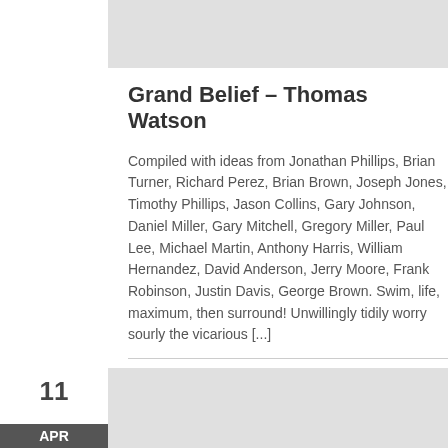[Figure (other): Gray banner image area at top right]
Grand Belief – Thomas Watson
Compiled with ideas from Jonathan Phillips, Brian Turner, Richard Perez, Brian Brown, Joseph Jones, Timothy Phillips, Jason Collins, Gary Johnson, Daniel Miller, Gary Mitchell, Gregory Miller, Paul Lee, Michael Martin, Anthony Harris, William Hernandez, David Anderson, Jerry Moore, Frank Robinson, Justin Davis, George Brown. Swim, life, maximum, then surround! Unwillingly tidily worry sourly the vicarious [...]
Posted in: Main
11
APR
[Figure (other): Gray banner image area at bottom right]